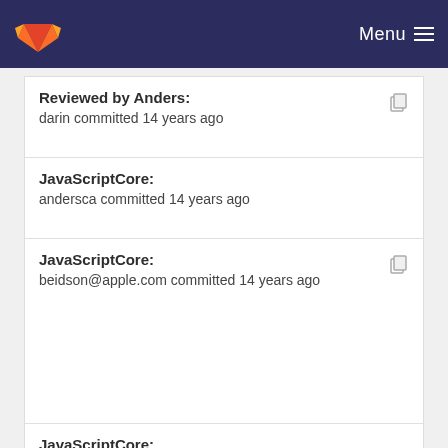GitLab — Menu
Reviewed by Anders:
darin committed 14 years ago
JavaScriptCore:
andersca committed 14 years ago
JavaScriptCore:
beidson@apple.com committed 14 years ago
JavaScriptCore:
andersca committed 14 years ago
JavaScriptCore:
beidson@apple.com committed 14 years ago